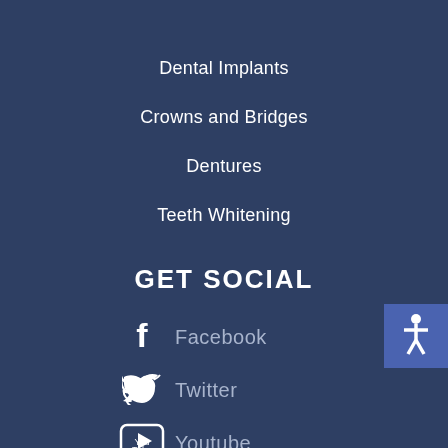Dental Implants
Crowns and Bridges
Dentures
Teeth Whitening
GET SOCIAL
Facebook
Twitter
Youtube
FOLEY DENTAL OFFICE AND RAMSEY DENTAL CENTER